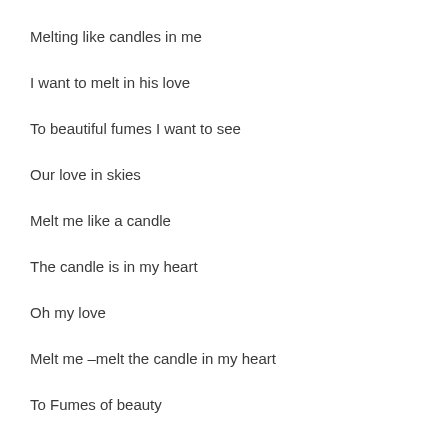Melting like candles in me
I want to melt in his love
To beautiful fumes I want to see
Our love in skies
Melt me like a candle
The candle is in my heart
Oh my love
Melt me –melt the candle in my heart
To Fumes of beauty